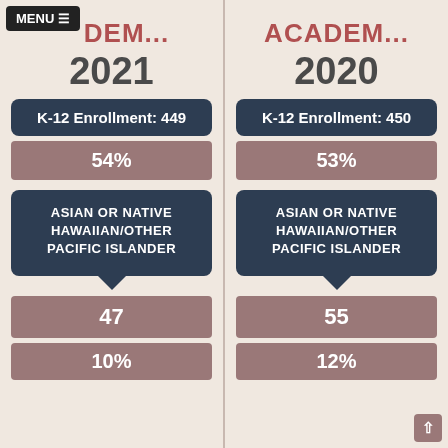ACAEM... 2021
K-12 Enrollment: 449
54%
ASIAN OR NATIVE HAWAIIAN/OTHER PACIFIC ISLANDER
47
10%
ACADEM... 2020
K-12 Enrollment: 450
53%
ASIAN OR NATIVE HAWAIIAN/OTHER PACIFIC ISLANDER
55
12%